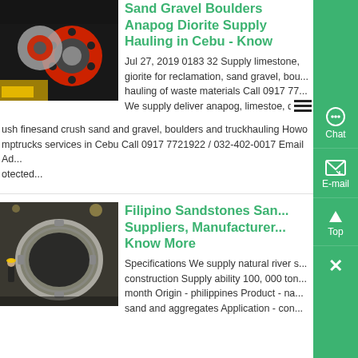[Figure (photo): Industrial machinery with red and silver components, gears and flanges visible against a dark background.]
Sand Gravel Boulders Anapog Diorite Supply Hauling in Cebu - Know
Jul 27, 2019 0183 32 Supply limestone, giorite for reclamation, sand gravel, boulders, hauling of waste materials Call 0917 77... We supply deliver anapog, limestoe, di...ush finesand crush sand and gravel, boulders and truckhauling Howo mptrucks services in Cebu Call 0917 7721922 / 032-402-0017 Email Ad...otected...
[Figure (photo): Industrial metal ring/gear component in a factory setting with workers and heavy machinery in the background.]
Filipino Sandstones San... Suppliers, Manufacturer... Know More
Specifications We supply natural river s... construction Supply ability 100, 000 ton... month Origin - philippines Product - na... sand and aggregates Application - con...